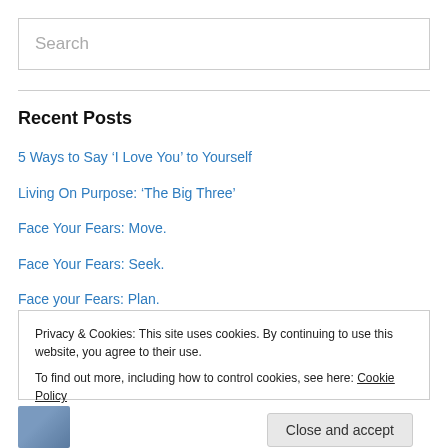Search
Recent Posts
5 Ways to Say ‘I Love You’ to Yourself
Living On Purpose: ‘The Big Three’
Face Your Fears: Move.
Face Your Fears: Seek.
Face your Fears: Plan.
Privacy & Cookies: This site uses cookies. By continuing to use this website, you agree to their use.
To find out more, including how to control cookies, see here: Cookie Policy
Close and accept